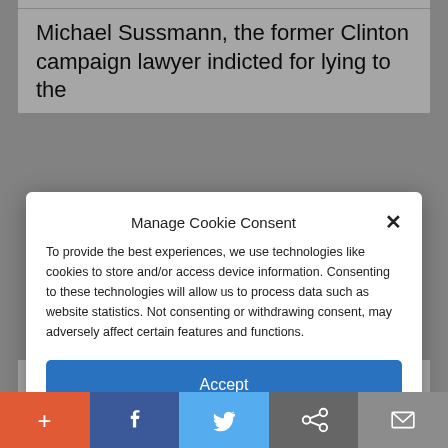Michael Sussmann, the former Clinton campaign lawyer indicted for lying to the
Manage Cookie Consent
To provide the best experiences, we use technologies like cookies to store and/or access device information. Consenting to these technologies will allow us to process data such as website statistics. Not consenting or withdrawing consent, may adversely affect certain features and functions.
Accept
Cookie Policy   Privacy Policy
the integrity of all future political campaigns. If one candidate's team can